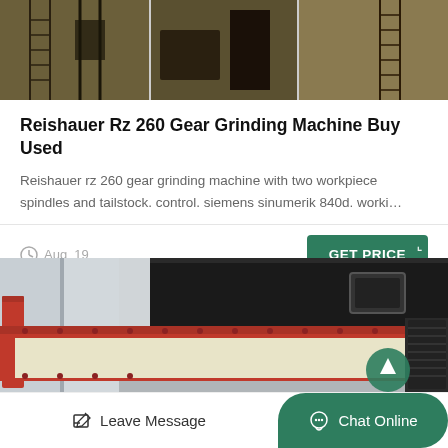[Figure (photo): Industrial machinery/factory equipment photograph, dark and warm toned]
Reishauer Rz 260 Gear Grinding Machine Buy Used
Reishauer rz 260 gear grinding machine with two workpiece spindles and tailstock. control. siemens sinumerik 840d. worki…
Aug_19
GET PRICE
[Figure (photo): Close-up photograph of red and cream colored industrial crushing/conveyor equipment with black machinery in background]
Leave Message
Chat Online